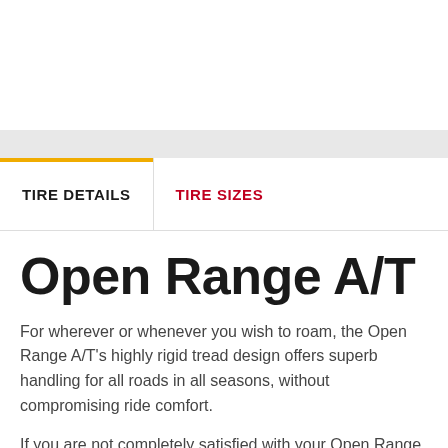TIRE DETAILS | TIRE SIZES
Open Range A/T
For wherever or whenever you wish to roam, the Open Range A/T's highly rigid tread design offers superb handling for all roads in all seasons, without compromising ride comfort.
If you are not completely satisfied with your Open Range all